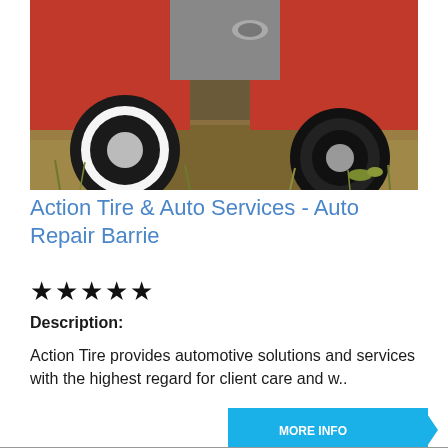[Figure (photo): Underside view of a classic red car with white-wall tire on the left and a dark tire on the right, parked on dry grass with brown/golden tones. Chrome exhaust and red bodywork visible.]
Action Tire & Auto Services - Auto Repair Barrie
★★★★★
Description:
Action Tire provides automotive solutions and services with the highest regard for client care and w..
[Figure (other): Blue chevron/arrow button with text 'MORE INFO']